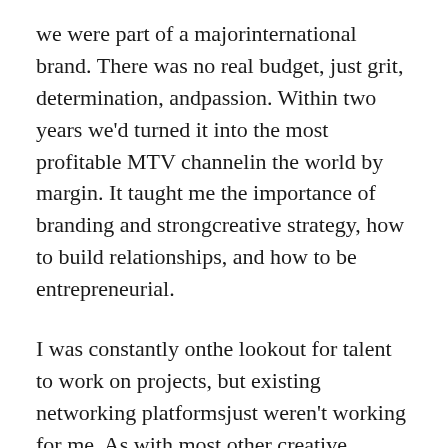we were part of a majorinternational brand. There was no real budget, just grit, determination, andpassion. Within two years we'd turned it into the most profitable MTV channelin the world by margin. It taught me the importance of branding and strongcreative strategy, how to build relationships, and how to be entrepreneurial.
I was constantly onthe lookout for talent to work on projects, but existing networking platformsjust weren't working for me. As with most other creative businesses, theeasiest way for us to find full-time and freelance talent at MTV was to hirefriends and friends of friends. The inevitable result was a lack of